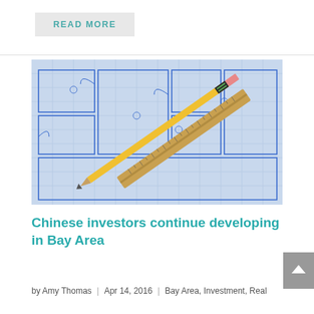READ MORE
[Figure (photo): Architectural blueprint with a yellow pencil and a wooden ruler laid diagonally across the paper]
Chinese investors continue developing in Bay Area
by Amy Thomas | Apr 14, 2016 | Bay Area, Investment, Real